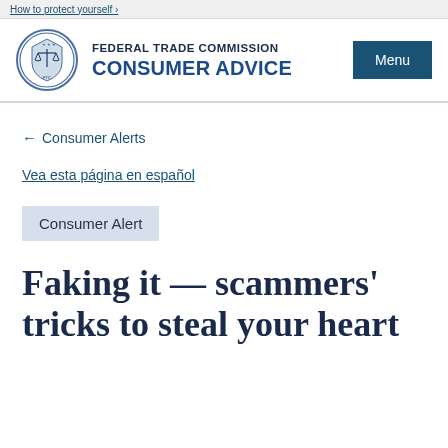How to protect yourself ›
[Figure (logo): Federal Trade Commission official seal/logo, circular with scales of justice]
FEDERAL TRADE COMMISSION
CONSUMER ADVICE
Menu
← Consumer Alerts
Vea esta página en español
Consumer Alert
Faking it — scammers' tricks to steal your heart